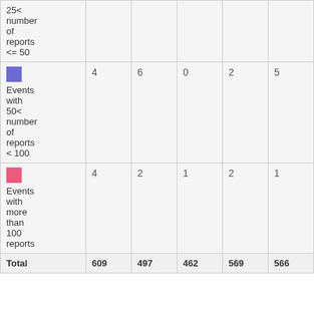| Category | Col1 | Col2 | Col3 | Col4 | Col5 | Col6 | Col7 |
| --- | --- | --- | --- | --- | --- | --- | --- |
| 25< number of reports <= 50 |  |  |  |  |  |  |  |
| Events with 50< number of reports < 100 | 4 | 6 | 0 | 2 | 5 | 0 | 3 |
| Events with more than 100 reports | 4 | 2 | 1 | 2 | 1 | 4 | 3 |
| Total | 609 | 497 | 462 | 569 | 566 | 511 | 795 |